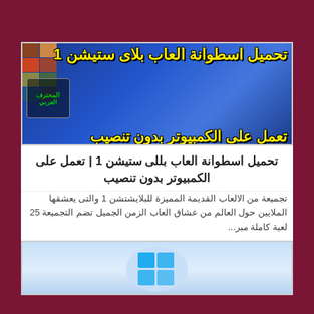[Figure (photo): Thumbnail image for PlayStation 1 games compilation article, showing a PS1 console with Arabic text overlay in yellow saying 'تحميل اسطوانة العاب بلاى ستيشن 1 تعمل على الكمبيوتر بدون تنصيب' and a green logo badge]
تحميل اسطوانة العاب بلاى ستيشن 1 | تعمل على الكمبيوتر بدون تنصيب
تجميعة من الالعاب القديمة المميزة للبلايشتشن 1 والتى يعشقها الملايين حول العالم من عشاق العاب الزمن الجميل تضم التجميعة 25 لعبة كاملة مبر...
[Figure (screenshot): Windows logo image at the bottom, partially visible]